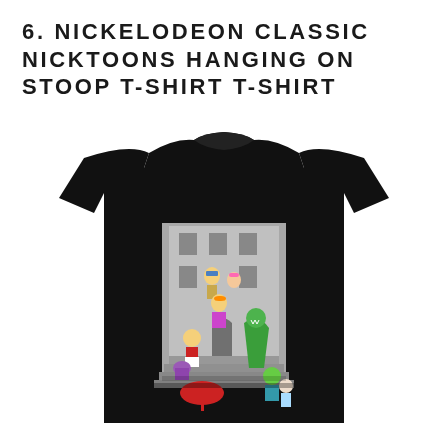6. NICKELODEON CLASSIC NICKTOONS HANGING ON STOOP T-SHIRT T-SHIRT
[Figure (photo): A black t-shirt product photo featuring a square graphic print on the chest showing classic Nickelodeon cartoon characters (Rugrats, Hey Arnold, Invader Zim, and others) gathered on a brownstone stoop in a black-and-white urban setting with colorful cartoon characters overlaid.]